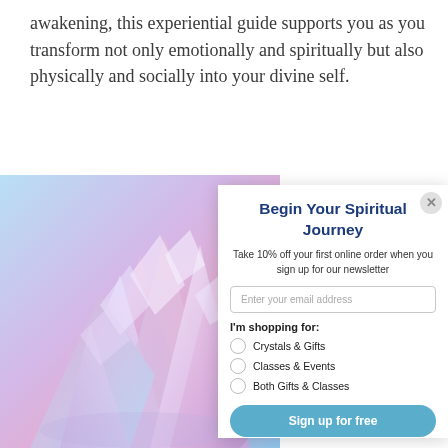awakening, this experiential guide supports you as you transform not only emotionally and spiritually but also physically and socially into your divine self.
[Figure (photo): Close-up photo of a pink and purple crystal/amethyst cluster against a soft blue background]
Begin Your Spiritual Journey
Take 10% off your first online order when you sign up for our newsletter
Enter your email address
I'm shopping for:
Crystals & Gifts
Classes & Events
Both Gifts & Classes
Sign up for free